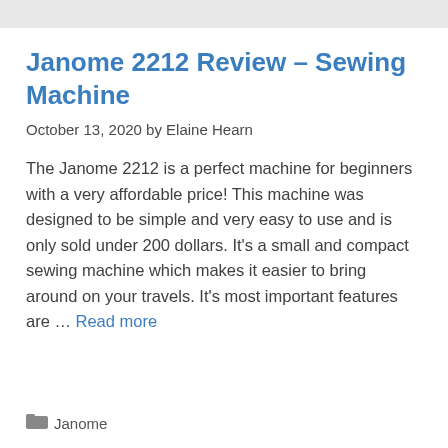Janome 2212 Review – Sewing Machine
October 13, 2020 by Elaine Hearn
The Janome 2212 is a perfect machine for beginners with a very affordable price! This machine was designed to be simple and very easy to use and is only sold under 200 dollars. It's a small and compact sewing machine which makes it easier to bring around on your travels. It's most important features are … Read more
Janome